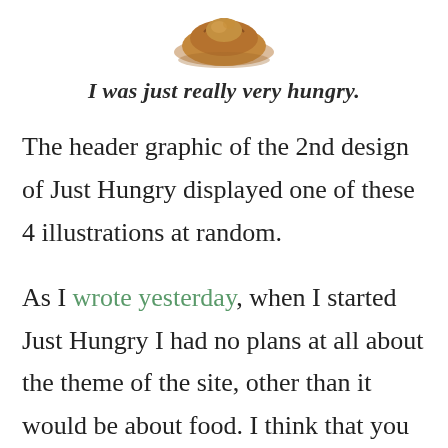[Figure (illustration): Brown illustrated graphic of food item (bread/bun) at top center of page, partially visible]
I was just really very hungry.
The header graphic of the 2nd design of Just Hungry displayed one of these 4 illustrations at random.
As I wrote yesterday, when I started Just Hungry I had no plans at all about the theme of the site, other than it would be about food. I think that you could get away with that